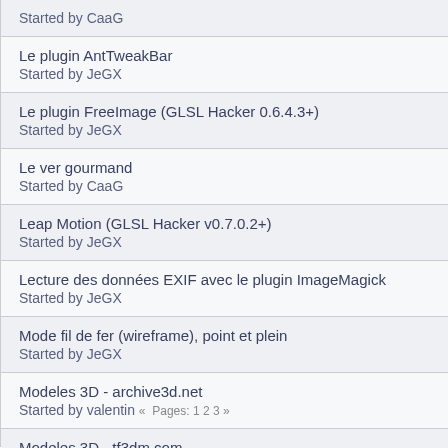Started by CaaG
Le plugin AntTweakBar
Started by JeGX
Le plugin FreeImage (GLSL Hacker 0.6.4.3+)
Started by JeGX
Le ver gourmand
Started by CaaG
Leap Motion (GLSL Hacker v0.7.0.2+)
Started by JeGX
Lecture des données EXIF avec le plugin ImageMagick
Started by JeGX
Mode fil de fer (wireframe), point et plein
Started by JeGX
Modeles 3D - archive3d.net
Started by valentin « Pages: 1 2 3 »
Modeles 3D - tf3dm.com